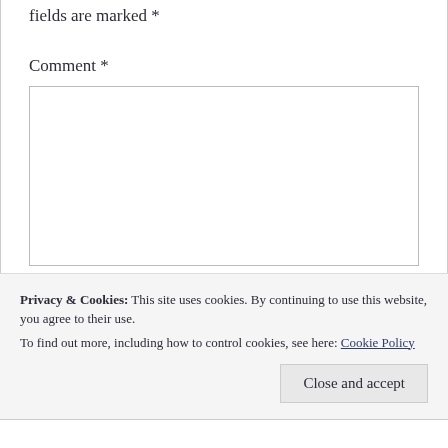Your email address will not be published. Required fields are marked *
Comment *
[Figure (other): Empty comment textarea input box]
Privacy & Cookies: This site uses cookies. By continuing to use this website, you agree to their use.
To find out more, including how to control cookies, see here: Cookie Policy
Close and accept